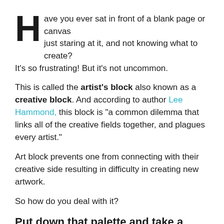Have you ever sat in front of a blank page or canvas just staring at it, and not knowing what to create? It's so frustrating! But it's not uncommon.
This is called the artist's block also known as a creative block. And according to author Lee Hammond, this block is "a common dilemma that links all of the creative fields together, and plagues every artist."
Art block prevents one from connecting with their creative side resulting in difficulty in creating new artwork.
So how do you deal with it?
Put down that palette and take a break!
If you are trying to create something non-stop, you will most definitely get tired. This is true for anything you